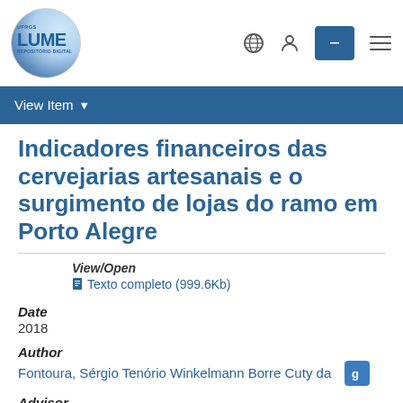[Figure (logo): LUME UFRGS Repositório Digital logo — circular blue/white design with LUME text]
View Item ▾
Indicadores financeiros das cervejarias artesanais e o surgimento de lojas do ramo em Porto Alegre
View/Open
Texto completo (999.6Kb)
Date
2018
Author
Fontoura, Sérgio Tenório Winkelmann Borre Cuty da
Advisor
Kirch, Guilherme